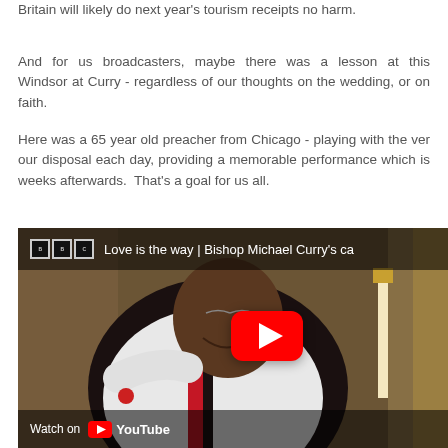Britain will likely do next year's tourism receipts no harm.
And for us broadcasters, maybe there was a lesson at this Windsor at Curry - regardless of our thoughts on the wedding, or on faith.
Here was a 65 year old preacher from Chicago - playing with the ver our disposal each day, providing a memorable performance which is weeks afterwards.  That's a goal for us all.
[Figure (screenshot): YouTube video embed thumbnail showing Bishop Michael Curry in white and red vestments preaching, with BBC logo and title 'Love is the way | Bishop Michael Curry's ca...' at top, YouTube play button overlay in center, and 'Watch on YouTube' bar at bottom.]